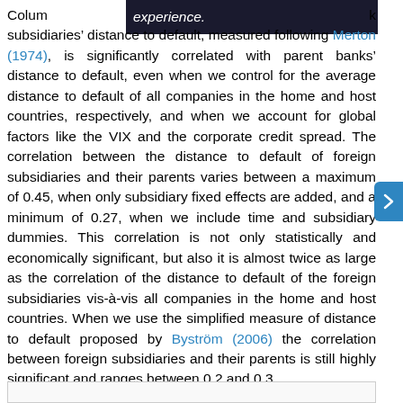Colum[...] k subsidiaries' distance to default, measured following Merton (1974), is significantly correlated with parent banks' distance to default, even when we control for the average distance to default of all companies in the home and host countries, respectively, and when we account for global factors like the VIX and the corporate credit spread. The correlation between the distance to default of foreign subsidiaries and their parents varies between a maximum of 0.45, when only subsidiary fixed effects are added, and a minimum of 0.27, when we include time and subsidiary dummies. This correlation is not only statistically and economically significant, but also it is almost twice as large as the correlation of the distance to default of the foreign subsidiaries vis-à-vis all companies in the home and host countries. When we use the simplified measure of distance to default proposed by Byström (2006) the correlation between foreign subsidiaries and their parents is still highly significant and ranges between 0.2 and 0.3.